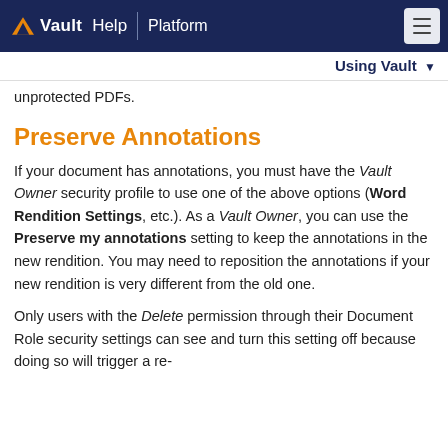Vault Help | Platform
unprotected PDFs.
Preserve Annotations
If your document has annotations, you must have the Vault Owner security profile to use one of the above options (Word Rendition Settings, etc.). As a Vault Owner, you can use the Preserve my annotations setting to keep the annotations in the new rendition. You may need to reposition the annotations if your new rendition is very different from the old one.
Only users with the Delete permission through their Document Role security settings can see and turn this setting off because doing so will trigger a re-